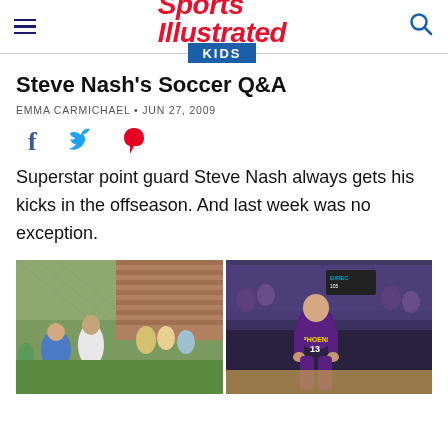Sports Illustrated KIDS
Steve Nash's Soccer Q&A
EMMA CARMICHAEL · JUN 27, 2009
[Figure (infographic): Social sharing icons: Facebook (f), Twitter (bird), Pinterest (p)]
Superstar point guard Steve Nash always gets his kicks in the offseason. And last week was no exception.
[Figure (photo): Two-panel photo: left shows Steve Nash in white t-shirt outdoors at a soccer event with crowd; right shows Steve Nash in Phoenix Suns purple #13 jersey on basketball court with crowd in background.]